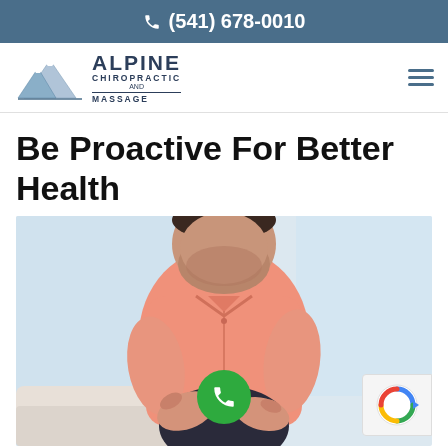(541) 678-0010
[Figure (logo): Alpine Chiropractic and Massage logo with mountain graphic]
Be Proactive For Better Health
[Figure (photo): Man in pink polo shirt holding his knee while seated, suggesting knee pain or examination]